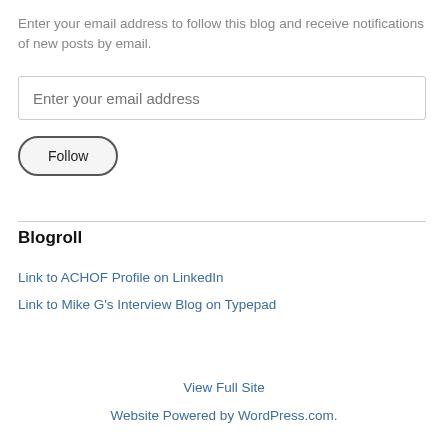Enter your email address to follow this blog and receive notifications of new posts by email.
Enter your email address
Follow
Blogroll
Link to ACHOF Profile on LinkedIn
Link to Mike G's Interview Blog on Typepad
View Full Site
Website Powered by WordPress.com.